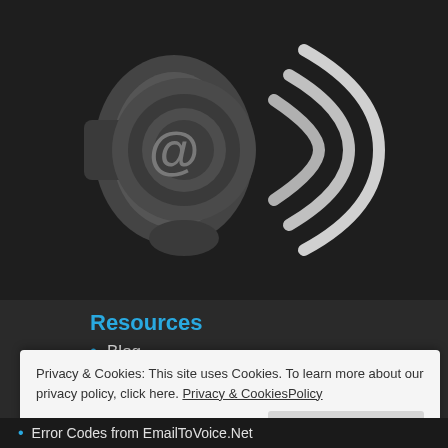[Figure (logo): A speaker icon with an @ symbol in the center and sound waves radiating to the right, rendered in dark grey tones on a dark background — logo for EmailToVoice.Net]
Resources
Blog
Privacy & Cookies: This site uses Cookies. To learn more about our privacy policy, click here. Privacy & CookiesPolicy
Error Codes from EmailToVoice.Net